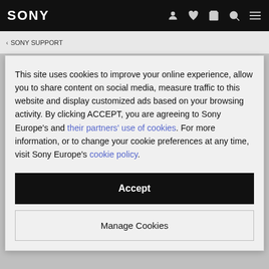[Figure (screenshot): Sony website navigation bar with black background, white SONY logo on left, and icons (person, heart, cart, search, menu) on right in gray]
< SONY SUPPORT
This site uses cookies to improve your online experience, allow you to share content on social media, measure traffic to this website and display customized ads based on your browsing activity. By clicking ACCEPT, you are agreeing to Sony Europe's and their partners' use of cookies. For more information, or to change your cookie preferences at any time, visit Sony Europe's cookie policy.
Accept
Manage Cookies